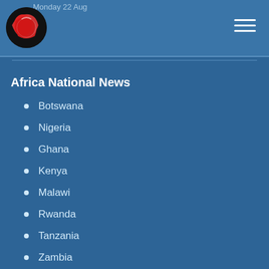Monday 22 Aug
Africa National News
Botswana
Nigeria
Ghana
Kenya
Malawi
Rwanda
Tanzania
Zambia
News Sections
Popular Videos
Value Added Services
Mobile